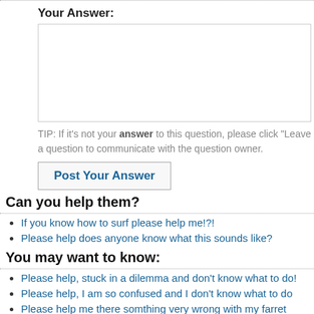Your Answer:
TIP: If it's not your answer to this question, please click "Leave a question to communicate with the question owner.
Post Your Answer
Can you help them?
If you know how to surf please help me!?!
Please help does anyone know what this sounds like?
You may want to know:
Please help, stuck in a dilemma and don't know what to do!
Please help, I am so confused and I don't know what to do
Please help me there somthing very wrong with my farret please hel
Am I wasting my time? Help please :(